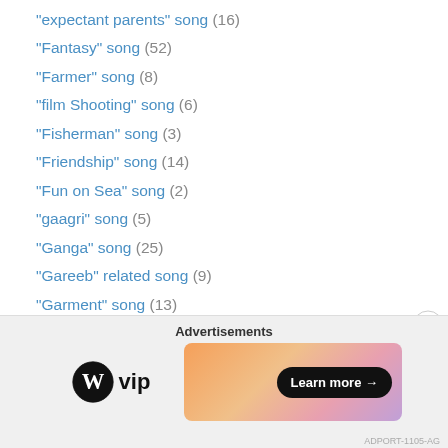"expectant parents" song (16)
"Fantasy" song (52)
"Farmer" song (8)
"film Shooting" song (6)
"Fisherman" song (3)
"Friendship" song (14)
"Fun on Sea" song (2)
"gaagri" song (5)
"Ganga" song (25)
"Gareeb" related song (9)
"Garment" song (13)
"genie in a lamp" song (1)
"Get together" song (259)
"Getting delayed" song (2)
"Ghoonghat" song (29)
"Ghunghroo" song (25)
[Figure (infographic): Advertisements banner with WordPress VIP logo and a colorful gradient ad banner with Learn more button]